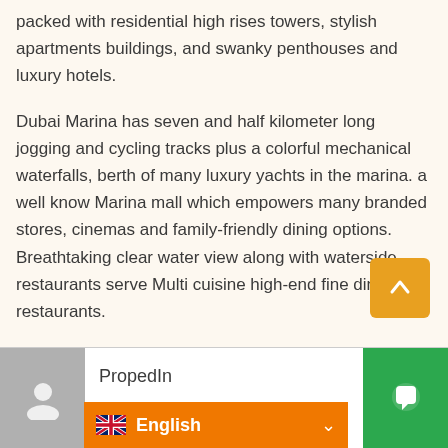packed with residential high rises towers, stylish apartments buildings, and swanky penthouses and luxury hotels.
Dubai Marina has seven and half kilometer long jogging and cycling tracks plus a colorful mechanical waterfalls, berth of many luxury yachts in the marina. a well know Marina mall which empowers many branded stores, cinemas and family-friendly dining options. Breathtaking clear water view along with waterside restaurants serve Multi cuisine high-end fine dining restaurants.
No Agents Please * Viewing by prior scheduling an appointment For further information and arranging an appointment to view this property
PropedIn